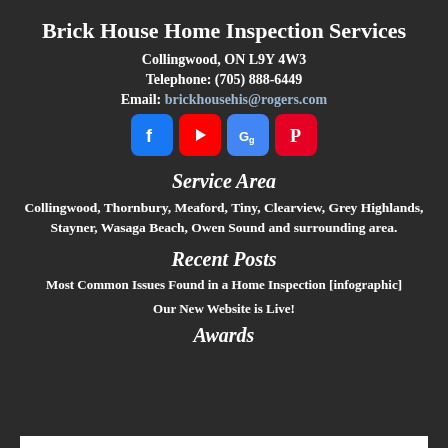Brick House Home Inspection Services
Collingwood, ON L9Y 4W3
Telephone: (705) 888-6449
Email: brickhousehis@rogers.com
[Figure (logo): Social media icons: Facebook, YouTube, Google Maps, Pinterest]
Service Area
Collingwood, Thornbury, Meaford, Tiny, Clearview, Grey Highlands, Stayner, Wasaga Beach, Owen Sound and surrounding area.
Recent Posts
Most Common Issues Found in a Home Inspection [infographic]
Our New Website is Live!
Awards